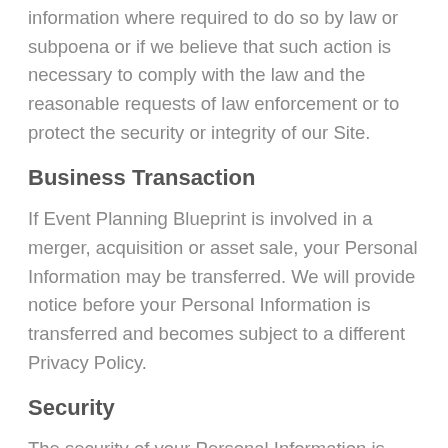information where required to do so by law or subpoena or if we believe that such action is necessary to comply with the law and the reasonable requests of law enforcement or to protect the security or integrity of our Site.
Business Transaction
If Event Planning Blueprint is involved in a merger, acquisition or asset sale, your Personal Information may be transferred. We will provide notice before your Personal Information is transferred and becomes subject to a different Privacy Policy.
Security
The security of your Personal Information is important to us, but remember that no method of transmission over the